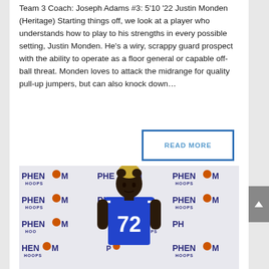Team 3 Coach: Joseph Adams #3: 5'10 '22 Justin Monden (Heritage) Starting things off, we look at a player who understands how to play to his strengths in every possible setting, Justin Monden. He's a wiry, scrappy guard prospect with the ability to operate as a floor general or capable off-ball threat. Monden loves to attack the midrange for quality pull-up jumpers, but can also knock down...
[Figure (other): READ MORE button with blue border]
[Figure (photo): Basketball player wearing blue jersey number 72 standing in front of Phenom Hoops branded backdrop]